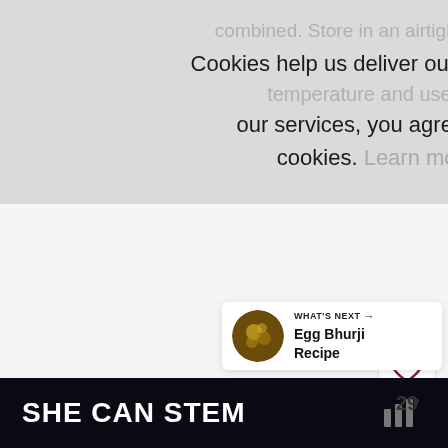combined. Store in an airtight container at room temperature and use as required.
Cookies help us deliver our services. By using our services, you agree to our use of cookies. Learn more  Got it
112
[Figure (screenshot): Heart/like button (outline heart icon in white circle)]
[Figure (screenshot): Active heart/save button (filled white heart on blue circle) overlapping with a dark pink/maroon circle behind]
29
[Figure (screenshot): Share button (share icon in white circle)]
WHAT'S NEXT → Egg Bhurji Recipe
SHE CAN STEM